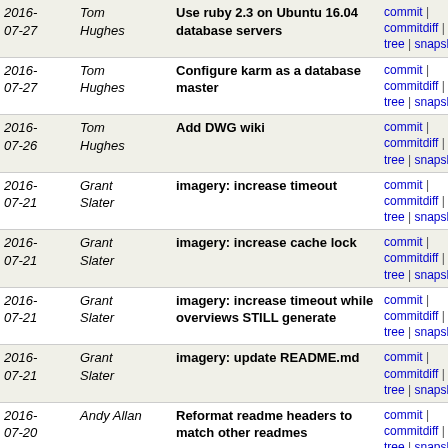| Date | Author | Message | Links |
| --- | --- | --- | --- |
| 2016-07-27 | Tom Hughes | Use ruby 2.3 on Ubuntu 16.04 database servers | commit | commitdiff | tree | snapshot |
| 2016-07-27 | Tom Hughes | Configure karm as a database master | commit | commitdiff | tree | snapshot |
| 2016-07-26 | Tom Hughes | Add DWG wiki | commit | commitdiff | tree | snapshot |
| 2016-07-21 | Grant Slater | imagery: increase timeout | commit | commitdiff | tree | snapshot |
| 2016-07-21 | Grant Slater | imagery: increase cache lock | commit | commitdiff | tree | snapshot |
| 2016-07-21 | Grant Slater | imagery: increase timeout while overviews STILL generate | commit | commitdiff | tree | snapshot |
| 2016-07-21 | Grant Slater | imagery: update README.md | commit | commitdiff | tree | snapshot |
| 2016-07-20 | Andy Allan | Reformat readme headers to match other readmes | commit | commitdiff | tree | snapshot |
| 2016-07-20 | Andy Allan | Add more cookbook readmes. | commit | commitdiff | tree | snapshot |
| 2016-07-20 | Matt Amos | Complete reset back to pre-reboot configuration. Finally. | commit | commitdiff | tree | snapshot |
| 2016-07-20 | Grant Slater | add contact links for OSM Operations Group | commit | commitdiff | tree | snapshot |
| 2016-07-20 | Matt Amos | Gently turn the dial up on the replica DB. | commit | commitdiff | tree | snapshot |
| 2016-07-19 | Matt Amos | Gradually move some more stuff to the IC backends. | commit | commitdiff | tree | snapshot |